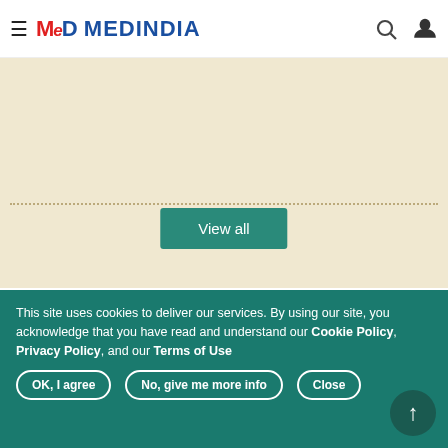Medindia
Organ Donation Week 2022 - 'Take the Pledge to Save Lives'
View all
Recommended Reading
Diabetes
[Figure (photo): Hand holding a glucose meter showing reading 139]
This site uses cookies to deliver our services. By using our site, you acknowledge that you have read and understand our Cookie Policy, Privacy Policy, and our Terms of Use
OK, I agree  No, give me more info  Close